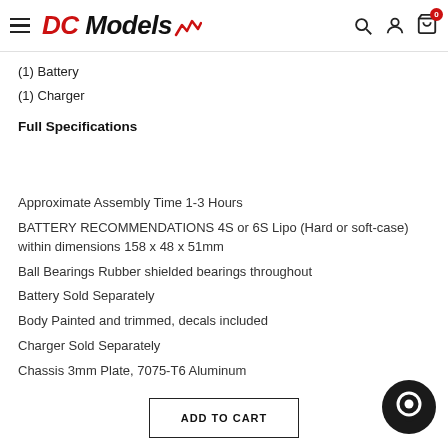DC Models
(1) Battery
(1) Charger
Full Specifications
Approximate Assembly Time 1-3 Hours
BATTERY RECOMMENDATIONS 4S or 6S Lipo (Hard or soft-case) within dimensions 158 x 48 x 51mm
Ball Bearings Rubber shielded bearings throughout
Battery Sold Separately
Body Painted and trimmed, decals included
Charger Sold Separately
Chassis 3mm Plate, 7075-T6 Aluminum